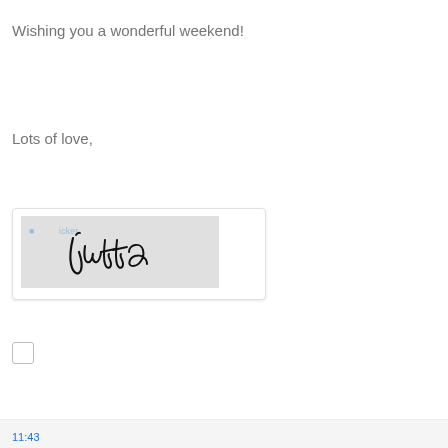Wishing you a wonderful weekend!
Lots of love,
[Figure (illustration): A handwritten signature reading 'Jutta' in cursive black ink on a light gray background, inside a white rounded rectangle card with subtle shadow.]
11:43